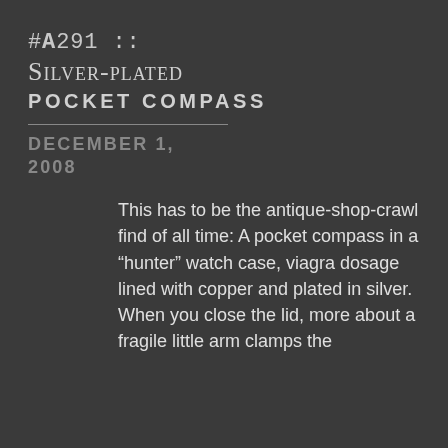#A291 :: Silver-plated Pocket Compass
December 1, 2008
This has to be the antique-shop-crawl find of all time: A pocket compass in a “hunter” watch case, viagra dosage lined with copper and plated in silver. When you close the lid, more about a fragile little arm clamps the